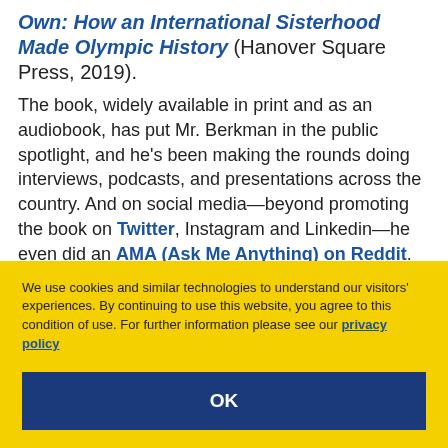Own: How an International Sisterhood Made Olympic History (Hanover Square Press, 2019).
The book, widely available in print and as an audiobook, has put Mr. Berkman in the public spotlight, and he's been making the rounds doing interviews, podcasts, and presentations across the country. And on social media—beyond promoting the book on Twitter, Instagram and Linkedin—he even did an AMA (Ask Me Anything) on Reddit.
We use cookies and similar technologies to understand our visitors' experiences. By continuing to use this website, you agree to this condition of use. For further information please see our privacy policy